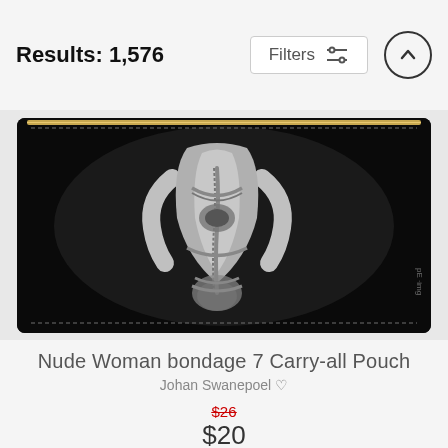Results: 1,576
Filters
[Figure (photo): Black and white photograph of a nude woman's back with rope bondage, printed on a carry-all pouch product]
Nude Woman bondage 7 Carry-all Pouch
Johan Swanepoel ♡
$26
$20